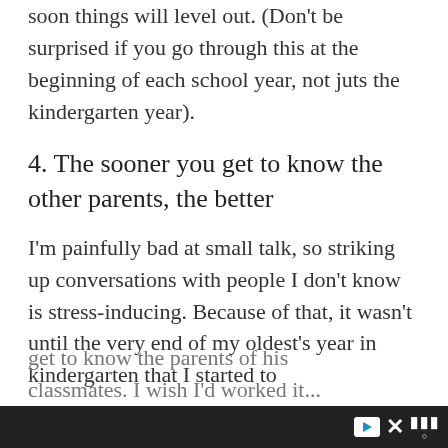soon things will level out. (Don't be surprised if you go through this at the beginning of each school year, not juts the kindergarten year).
4. The sooner you get to know the other parents, the better
I'm painfully bad at small talk, so striking up conversations with people I don't know is stress-inducing. Because of that, it wasn't until the very end of my oldest's year in kindergarten that I started to get to know the parents of his classmates. I wish I'd worked it...